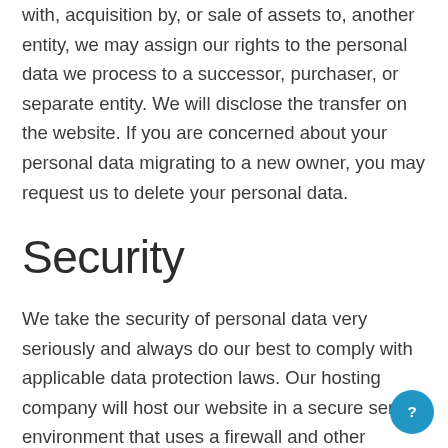with, acquisition by, or sale of assets to, another entity, we may assign our rights to the personal data we process to a successor, purchaser, or separate entity. We will disclose the transfer on the website. If you are concerned about your personal data migrating to a new owner, you may request us to delete your personal data.
Security
We take the security of personal data very seriously and always do our best to comply with applicable data protection laws. Our hosting company will host our website in a secure server environment that uses a firewall and other advanced security measures to